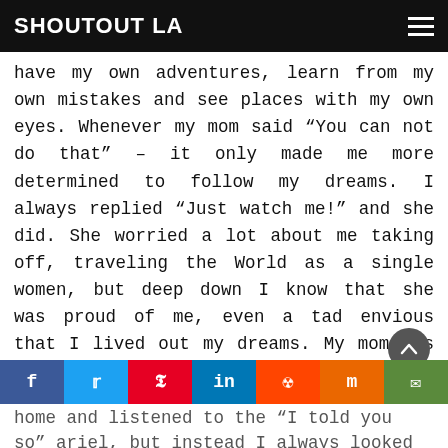SHOUTOUT LA
have my own adventures, learn from my own mistakes and see places with my own eyes. Whenever my mom said “You can not do that” – it only made me more determined to follow my dreams. I always replied “Just watch me!” and she did. She worried a lot about me taking off, traveling the World as a single women, but deep down I know that she was proud of me, even a tad envious that I lived out my dreams. My mom was always there for me. She accepted and supported (mostly) my adventures, but I wouldn’t say that she encouraged me. So, when things did not work out… I could have gone
home and listened to the “I told you so” ariel, but instead I always looked forward to the most